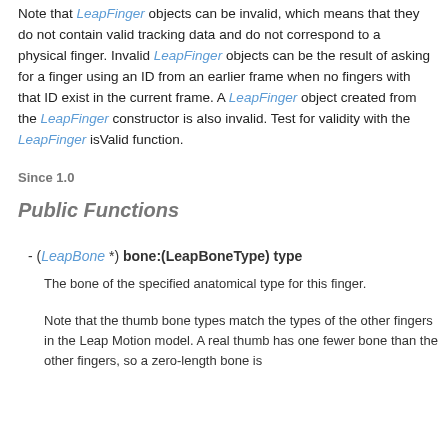Note that LeapFinger objects can be invalid, which means that they do not contain valid tracking data and do not correspond to a physical finger. Invalid LeapFinger objects can be the result of asking for a finger using an ID from an earlier frame when no fingers with that ID exist in the current frame. A LeapFinger object created from the LeapFinger constructor is also invalid. Test for validity with the LeapFinger isValid function.
Since 1.0
Public Functions
- (LeapBone *) bone:(LeapBoneType) type
The bone of the specified anatomical type for this finger.
Note that the thumb bone types match the types of the other fingers in the Leap Motion model. A real thumb has one fewer bone than the other fingers, so a zero-length bone is